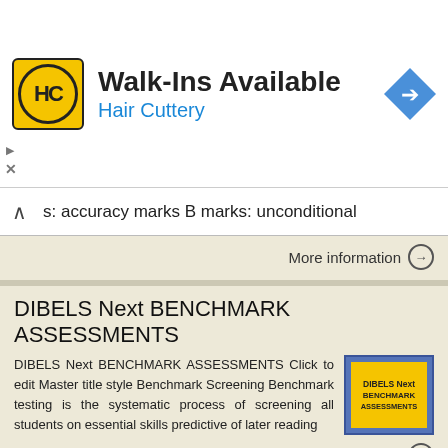[Figure (other): Hair Cuttery advertisement banner with logo, 'Walk-Ins Available' text and navigation arrow icon]
s: accuracy marks B marks: unconditional
More information →
DIBELS Next BENCHMARK ASSESSMENTS
DIBELS Next BENCHMARK ASSESSMENTS Click to edit Master title style Benchmark Screening Benchmark testing is the systematic process of screening all students on essential skills predictive of later reading
[Figure (other): Thumbnail image of DIBELS Next BENCHMARK ASSESSMENTS document cover with blue border and yellow background]
More information →
SEGMENTAL FEATURES IN SPONTANEOUS AND READ-ALOUD FINNISH